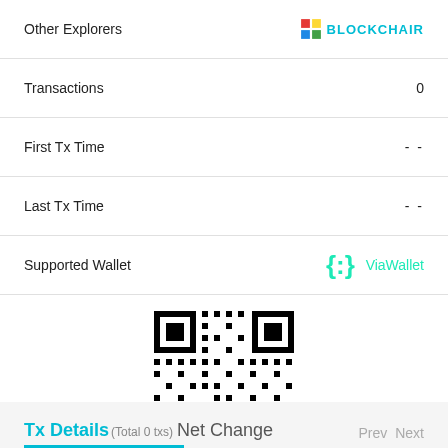Other Explorers — BLOCKCHAIR
Transactions — 0
First Tx Time — - -
Last Tx Time — - -
Supported Wallet — ViaWallet
[Figure (other): QR code for a blockchain address]
Tx Details (Total 0 txs) Net Change   Prev Next